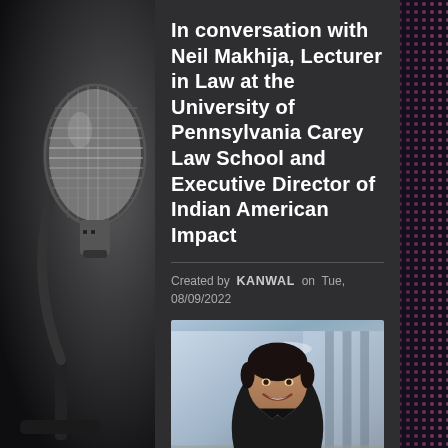[Figure (photo): Microphone close-up on left side background, silver condenser microphone]
In conversation with Neil Makhija, Lecturer in Law at the University of Pennsylvania Carey Law School and Executive Director of Indian American Impact
Created by KANWAL on Tue, 08/09/2022
[Figure (photo): Headshot photo of Neil Makhija, a young South Asian man smiling, wearing a black shirt, standing in a modern office/corridor background]
[Figure (photo): Right side decorative background with pink/magenta dot matrix pattern on dark background]